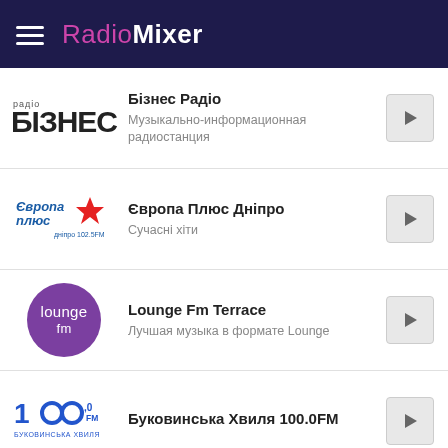RadioMixer
Бізнес Радіо — Музыкально-информационная радиостанция
Європа Плюс Дніпро — Сучасні хіти
Lounge Fm Terrace — Лучшая музыка в формате Lounge
Буковинська Хвиля 100.0FM